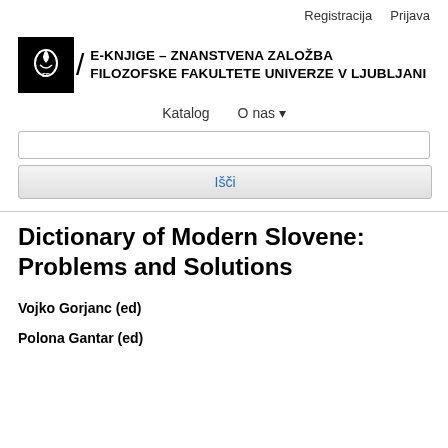Registracija   Prijava
[Figure (logo): Faculty of Arts logo with black background and stylized white pen/book icon, followed by slash divider and bold uppercase text: E-KNJIGE – ZNANSTVENA ZALOŽBA FILOZOFSKE FAKULTETE UNIVERZE V LJUBLJANI]
Katalog   O nas ▾
(search input field)
Išči
Dictionary of Modern Slovene: Problems and Solutions
Vojko Gorjanc (ed)
Polona Gantar (ed)